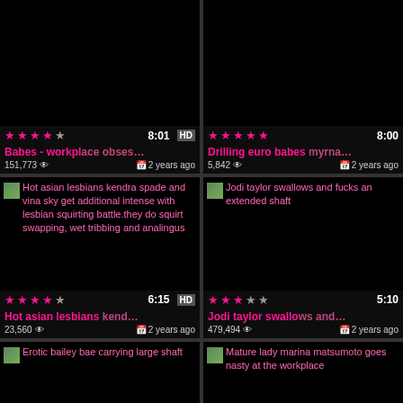[Figure (screenshot): Video thumbnail grid showing adult video website with 6 video cards in 2-column layout. Top row shows partial cards with ratings, durations, titles. Middle row shows full cards with thumbnails, ratings, durations, titles, view counts. Bottom row shows partial cards with thumbnail text.]
Babes - workplace obses...
151,773 views · 2 years ago
Drilling euro babes myrna...
5,842 views · 2 years ago
Hot asian lesbians kendra spade and vina sky get additional intense with lesbian squirting battle.they do squirt swapping, wet tribbing and analingus
Hot asian lesbians kend...
23,560 views · 2 years ago
Jodi taylor swallows and fucks an extended shaft
Jodi taylor swallows and...
479,494 views · 2 years ago
Erotic bailey bae carrying large shaft
Mature lady marina matsumoto goes nasty at the workplace